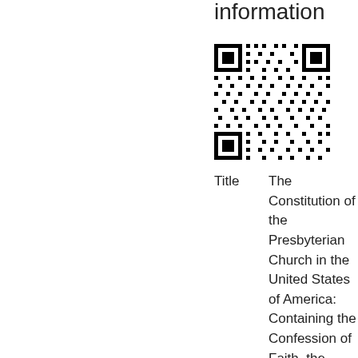information
[Figure (other): QR code linking to additional information about the document]
Title    The Constitution of the Presbyterian Church in the United States of America: Containing the Confession of Faith, the Catechisms, and Th Directory for the Worship of God...